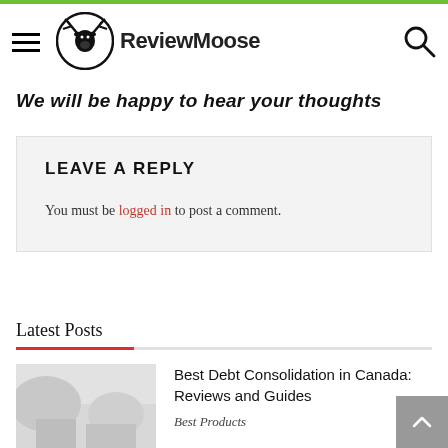ReviewMoose
We will be happy to hear your thoughts
LEAVE A REPLY
You must be logged in to post a comment.
Latest Posts
Best Debt Consolidation in Canada: Reviews and Guides
Best Products